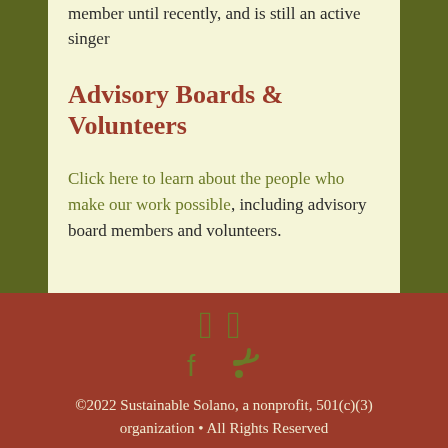member until recently, and is still an active singer
Advisory Boards & Volunteers
Click here to learn about the people who make our work possible, including advisory board members and volunteers.
©2022 Sustainable Solano, a nonprofit, 501(c)(3) organization • All Rights Reserved